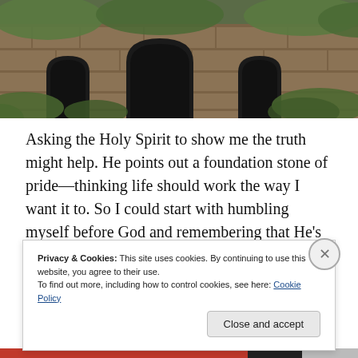[Figure (photo): Stone wall with arched openings and green vegetation, partial top crop]
Asking the Holy Spirit to show me the truth might help. He points out a foundation stone of pride—thinking life should work the way I want it to. So I could start with humbling myself before God and remembering that He's God and I'm not.
I've let past rejections and hurt feelings build up instead of dealing with them God's way. Now fortress walls guard a
Privacy & Cookies: This site uses cookies. By continuing to use this website, you agree to their use.
To find out more, including how to control cookies, see here: Cookie Policy
Close and accept